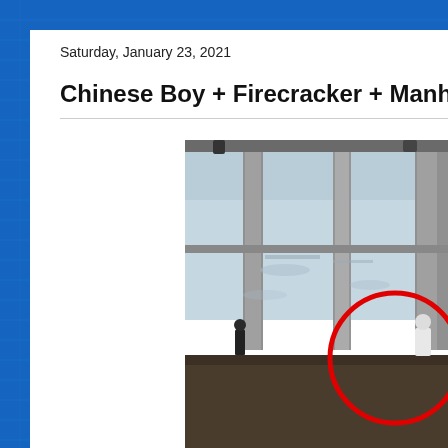Saturday, January 23, 2021
Chinese Boy + Firecracker + Manhole =
[Figure (photo): Video still showing a viewed-from-above indoor scene, likely a lobby or corridor with pillars. A red circle is drawn highlighting a figure near the lower right of the frame. Two small dark figures are visible, one with a white appearance. The image is a CCTV or security camera screenshot.]